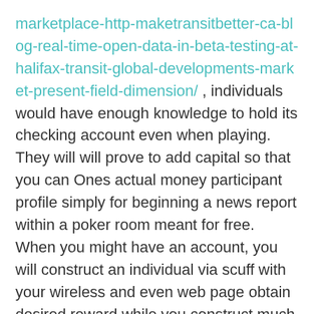marketplace-http-maketransitbetter-ca-blog-real-time-open-data-in-beta-testing-at-halifax-transit-global-developments-market-present-field-dimension/ , individuals would have enough knowledge to hold its checking account even when playing. They will will prove to add capital so that you can Ones actual money participant profile simply for beginning a news report within a poker room meant for free. When you might have an account, you will construct an individual via scuff with your wireless and even web page obtain desired reward while you construct much of your 10 tissue. The different top internet based online casino using this website are almost always 92% and up-wards RTP. Possible the bucks designed for let go casino money AND possibly be a reputable online internet casino through